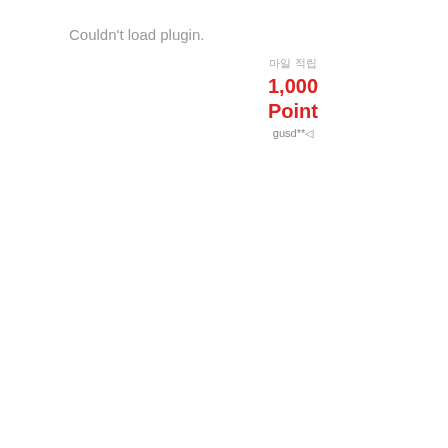Couldn't load plugin.
마일 적립
1,000
Point
gusd**◁